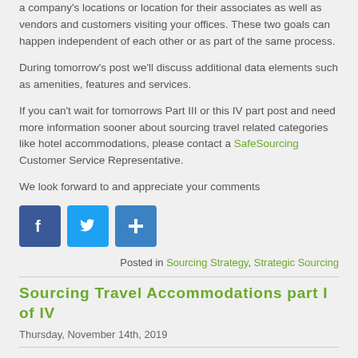a company's locations or location for their associates as well as vendors and customers visiting your offices.  These two goals can happen independent of each other or as part of the same process.
During tomorrow's post we'll discuss additional data elements such as amenities, features and services.
If you can't wait for tomorrows Part III or this IV part post and need more information sooner about sourcing travel related categories like hotel accommodations, please contact a SafeSourcing Customer Service Representative.
We look forward to and appreciate your comments
[Figure (other): Social media share buttons: Facebook, Twitter, and a plus/share button]
Posted in Sourcing Strategy, Strategic Sourcing
Sourcing Travel Accommodations part I of IV
Thursday, November 14th, 2019
Todays post is from our Archives at SafeSourcing.
Negotiating hotel accommodations for your company which